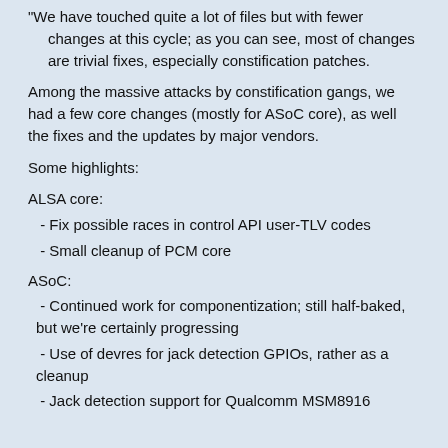"We have touched quite a lot of files but with fewer changes at this cycle; as you can see, most of changes are trivial fixes, especially constification patches.
Among the massive attacks by constification gangs, we had a few core changes (mostly for ASoC core), as well the fixes and the updates by major vendors.
Some highlights:
ALSA core:
- Fix possible races in control API user-TLV codes
- Small cleanup of PCM core
ASoC:
- Continued work for componentization; still half-baked, but we're certainly progressing
- Use of devres for jack detection GPIOs, rather as a cleanup
- Jack detection support for Qualcomm MSM8916